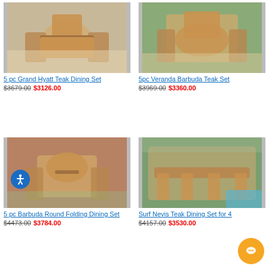[Figure (photo): 5 pc Grand Hyatt Teak Dining Set outdoor furniture photo]
5 pc Grand Hyatt Teak Dining Set
$3679.00 $3126.00
[Figure (photo): 5pc Veranda Barbuda Teak Set outdoor furniture photo]
5pc Veranda Barbuda Teak Set
$3969.00 $3360.00
[Figure (photo): 5 pc Barbuda Round Folding Dining Set outdoor furniture photo]
5 pc Barbuda Round Folding Dining Set
$4473.00 $3784.00
[Figure (photo): Surf Nevis Teak Dining Set for 4 outdoor furniture photo]
Surf Nevis Teak Dining Set for 4
$4157.00 $3530.00